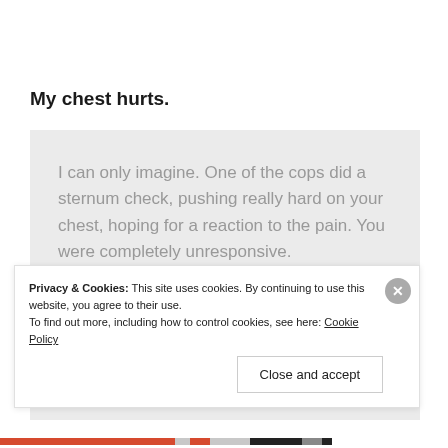My chest hurts.
I can only imagine. One of the cops did a sternum check, pushing really hard on your chest, hoping for a reaction to the pain. You were completely unresponsive.
Privacy & Cookies: This site uses cookies. By continuing to use this website, you agree to their use.
To find out more, including how to control cookies, see here: Cookie Policy
Close and accept